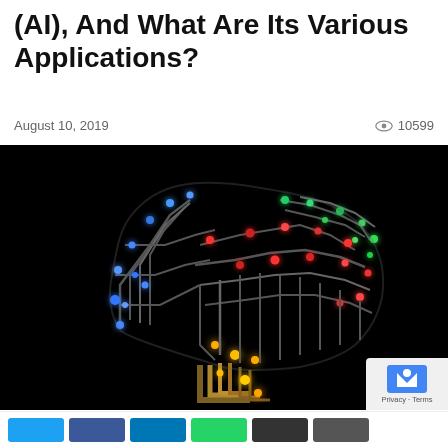(AI), And What Are Its Various Applications?
August 10, 2019   👁 10599
[Figure (photo): Colorful circuit board brain illustration on black background, representing artificial intelligence with glowing blue, green, red, and yellow nodes connected by metallic traces forming the shape of a human brain]
Share buttons row at bottom of page